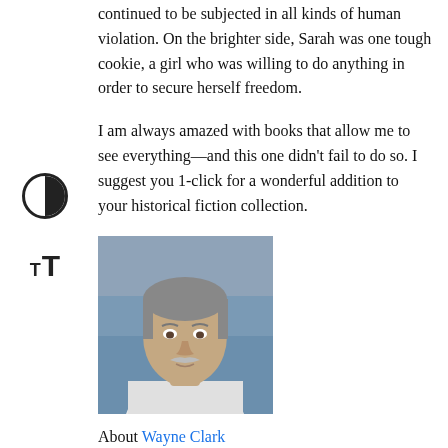continued to be subjected in all kinds of human violation. On the brighter side, Sarah was one tough cookie, a girl who was willing to do anything in order to secure herself freedom.
I am always amazed with books that allow me to see everything—and this one didn't fail to do so. I suggest you 1-click for a wonderful addition to your historical fiction collection.
[Figure (photo): Headshot photo of Wayne Clark, an older man with grey hair and a grey moustache, wearing a white shirt, with a blurred background.]
About Wayne Clark
Wayne is a Montreal based writer, editor and translator.